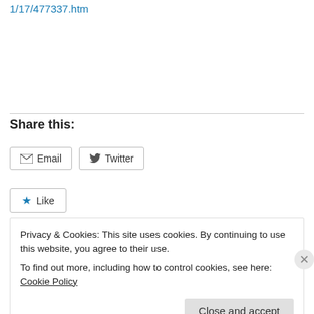1/17/477337.htm
Share this:
Email  Twitter
Like
Privacy & Cookies: This site uses cookies. By continuing to use this website, you agree to their use.
To find out more, including how to control cookies, see here: Cookie Policy
Close and accept